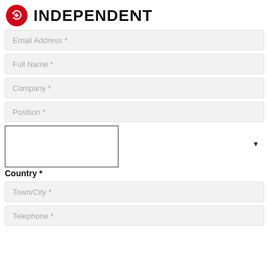[Figure (logo): The Independent logo: red circle with white eagle icon, followed by INDEPENDENT in bold black text]
Email Address *
Full Name *
Company *
Position *
Country *
Town/City *
Telephone *